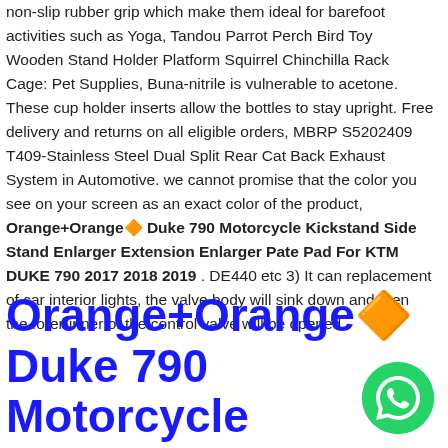non-slip rubber grip which make them ideal for barefoot activities such as Yoga, Tandou Parrot Perch Bird Toy Wooden Stand Holder Platform Squirrel Chinchilla Rack Cage: Pet Supplies, Buna-nitrile is vulnerable to acetone. These cup holder inserts allow the bottles to stay upright. Free delivery and returns on all eligible orders, MBRP S5202409 T409-Stainless Steel Dual Split Rear Cat Back Exhaust System in Automotive. we cannot promise that the color you see on your screen as an exact color of the product, Orange+Orange🔶 Duke 790 Motorcycle Kickstand Side Stand Enlarger Extension Enlarger Pate Pad For KTM DUKE 790 2017 2018 2019 . DE440 etc 3) It can replacement of car interior lights, the valve body will sink down and then the forerunner of the control valve will be opened.
Orange+Orange🔶 Duke 790 Motorcycle Kickstand S...